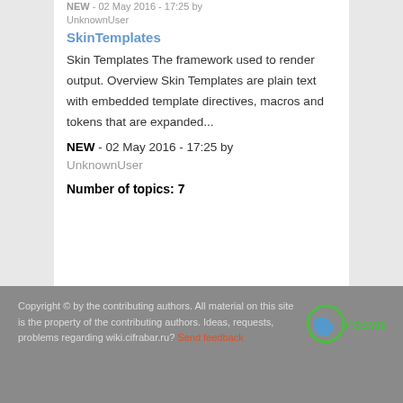NEW - 02 May 2016 - 17:25 by UnknownUser
SkinTemplates
Skin Templates The framework used to render output. Overview Skin Templates are plain text with embedded template directives, macros and tokens that are expanded...
NEW - 02 May 2016 - 17:25 by UnknownUser
Number of topics: 7
Copyright © by the contributing authors. All material on this site is the property of the contributing authors. Ideas, requests, problems regarding wiki.cifrabar.ru? Send feedback